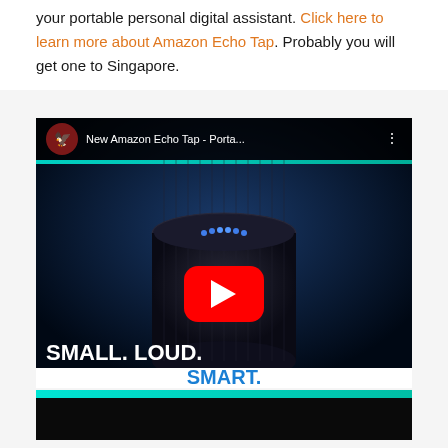No doubt Amazon Tap can be a cool gadget and your portable personal digital assistant. Click here to learn more about Amazon Echo Tap. Probably you will get one to Singapore.
[Figure (screenshot): YouTube video thumbnail for 'New Amazon Echo Tap - Porta...' showing the Amazon Echo Tap speaker device on a dark blue background with a YouTube play button in the center, text reading 'SMALL. LOUD. SMART.' at the bottom, and a teal bar at the very bottom.]